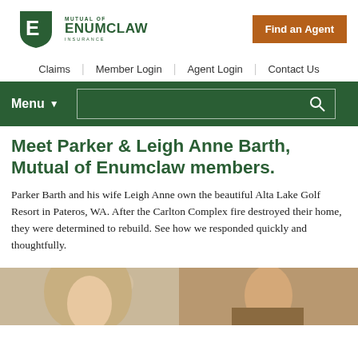[Figure (logo): Mutual of Enumclaw Insurance shield logo with green text]
Find an Agent
Claims | Member Login | Agent Login | Contact Us
Menu
Meet Parker & Leigh Anne Barth, Mutual of Enumclaw members.
Parker Barth and his wife Leigh Anne own the beautiful Alta Lake Golf Resort in Pateros, WA. After the Carlton Complex fire destroyed their home, they were determined to rebuild. See how we responded quickly and thoughtfully.
[Figure (photo): Photo of Parker and Leigh Anne Barth, a couple shown together]